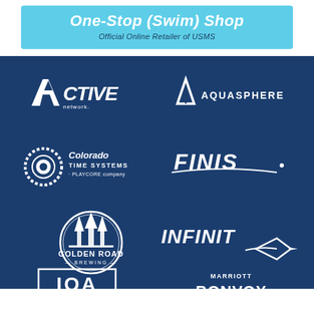[Figure (logo): One-Stop (Swim) Shop — Official Online Retailer of USMS banner with cyan/light blue background]
[Figure (logo): ACTIVE network logo — white italic bold text on dark blue background]
[Figure (logo): AQUASPHERE logo — white triangle icon and white text on dark blue background]
[Figure (logo): Colorado Time Systems — a Playcore company logo, white circular gear icon with white text]
[Figure (logo): FINIS logo — white italic bold text with swoosh on dark blue background]
[Figure (logo): Golden Road Brewing logo — white circular badge with trees on dark blue background]
[Figure (logo): INFINIT logo — white italic bold text with arrow swoosh on dark blue background]
[Figure (logo): IOA logo — white letters in a box border on dark blue background]
[Figure (logo): Marriott Bonvoy logo — white text MARRIOTT BONVOY on dark blue background]